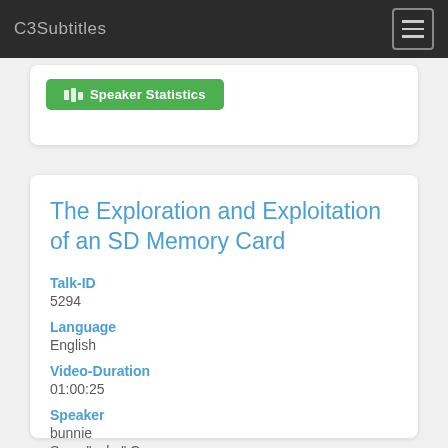C3Subtitles
Speaker Statistics
The Exploration and Exploitation of an SD Memory Card
Talk-ID
5294
Language
English
Video-Duration
01:00:25
Speaker
bunnie
Sean "xobs" Cross
Track
Hardware & Making